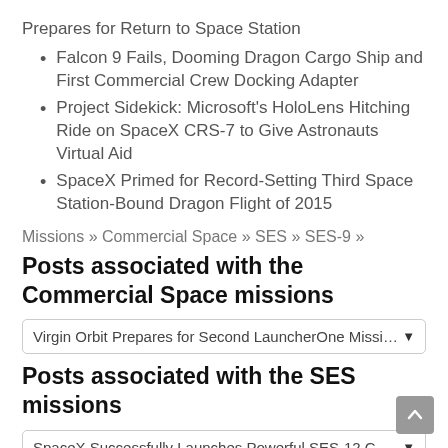Prepares for Return to Space Station
Falcon 9 Fails, Dooming Dragon Cargo Ship and First Commercial Crew Docking Adapter
Project Sidekick: Microsoft's HoloLens Hitching Ride on SpaceX CRS-7 to Give Astronauts Virtual Aid
SpaceX Primed for Record-Setting Third Space Station-Bound Dragon Flight of 2015
Missions » Commercial Space » SES » SES-9 »
Posts associated with the Commercial Space missions
Virgin Orbit Prepares for Second LauncherOne Mission, Early We
Posts associated with the SES missions
SpaceX Successfully Launches Powerful SES-12 Communication
Posts associated with the SES-9 mission